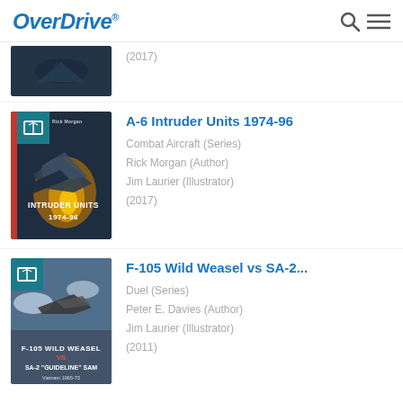OverDrive
[Figure (screenshot): Partial book cover at top, cropped showing only bottom portion with year (2017) visible]
[Figure (illustration): Book cover: A-6 Intruder Units 1974-96, showing military aircraft with fire/explosions on dark background]
A-6 Intruder Units 1974-96
Combat Aircraft (Series)
Rick Morgan (Author)
Jim Laurier (Illustrator)
(2017)
[Figure (illustration): Book cover: F-105 Wild Weasel vs SA-2 Guideline SAM, Vietnam 1965-73, showing military aircraft against sky]
F-105 Wild Weasel vs SA-2...
Duel (Series)
Peter E. Davies (Author)
Jim Laurier (Illustrator)
(2011)